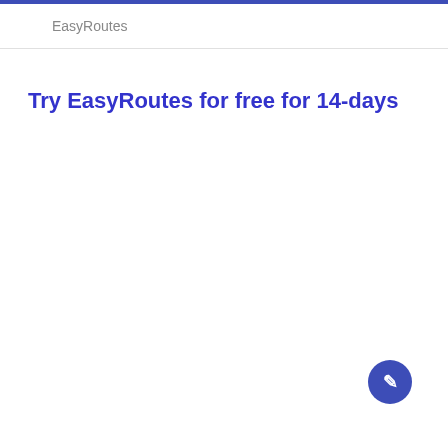EasyRoutes
Try EasyRoutes for free for 14-days